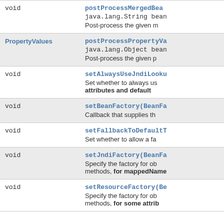| Type | Method and Description |
| --- | --- |
| void | postProcessMergedBean...
java.lang.String bean
Post-process the given m |
| PropertyValues | postProcessPropertyVa...
java.lang.Object bean
Post-process the given p |
| void | setAlwaysUseJndiLooku...
Set whether to always us
attributes and default |
| void | setBeanFactory(BeanFa...
Callback that supplies th |
| void | setFallbackToDefaultT...
Set whether to allow a fa |
| void | setJndiFactory(BeanFa...
Specify the factory for ob
methods, for mappedName |
| void | setResourceFactory(Be...
Specify the factory for ob
methods, for some attrib |